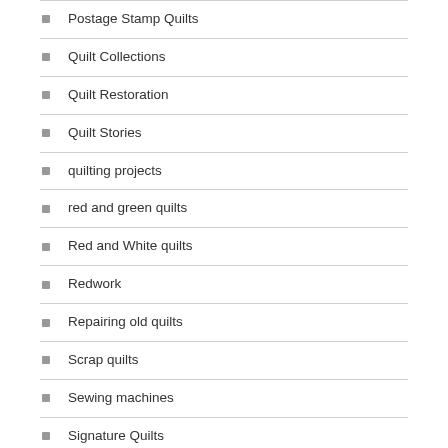Postage Stamp Quilts
Quilt Collections
Quilt Restoration
Quilt Stories
quilting projects
red and green quilts
Red and White quilts
Redwork
Repairing old quilts
Scrap quilts
Sewing machines
Signature Quilts
Singer Sewing Manuals
Spider Webs
stitching